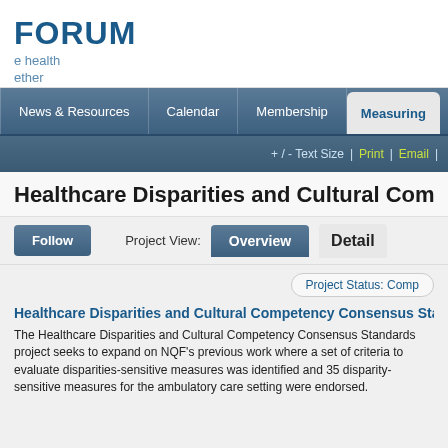FORUM / improve health together
[Figure (screenshot): Navigation bar with items: News & Resources, Calendar, Membership, Measuring (active tab)]
+ / - Text Size | Print | Email |
Healthcare Disparities and Cultural Competence
Follow   Project View:  Overview  Detail
Project Status: Complete
Healthcare Disparities and Cultural Competency Consensus Standards
The Healthcare Disparities and Cultural Competency Consensus Standards project seeks to expand on NQF's previous work where a set of criteria to evaluate disparities-sensitive measures was identified and 35 disparity-sensitive measures for the ambulatory care setting were endorsed.